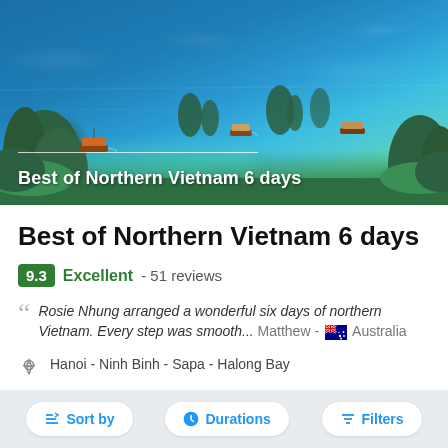[Figure (photo): Aerial view of Ha Long Bay, Vietnam with blue water, limestone karst islands, and touring boats. Text overlay reads 'Best of Northern Vietnam 6 days'.]
Best of Northern Vietnam 6 days
9.3 Excellent - 51 reviews
Rosie Nhung arranged a wonderful six days of northern Vietnam. Every step was smooth... Matthew - 🇦🇺 Australia
Hanoi - Ninh Binh - Sapa - Halong Bay
Theme: Interact with local, Soft Adventure, Cultural, Nature
Suitable: Singles & Solo, Young Adults
Sort by   Durations   Filters